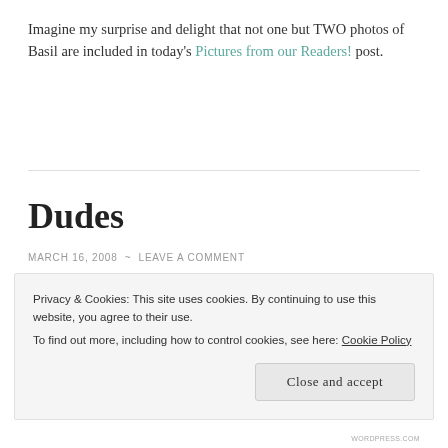Imagine my surprise and delight that not one but TWO photos of Basil are included in today's Pictures from our Readers! post.
Dudes
MARCH 16, 2008 ~ LEAVE A COMMENT
[Figure (photo): Image link placeholder showing 'The Question Mark Guy!' with broken image icon]
Privacy & Cookies: This site uses cookies. By continuing to use this website, you agree to their use. To find out more, including how to control cookies, see here: Cookie Policy